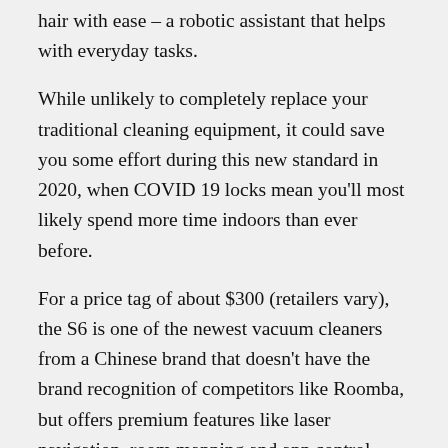hair with ease – a robotic assistant that helps with everyday tasks.
While unlikely to completely replace your traditional cleaning equipment, it could save you some effort during this new standard in 2020, when COVID 19 locks mean you'll most likely spend more time indoors than ever before.
For a price tag of about $300 (retailers vary), the S6 is one of the newest vacuum cleaners from a Chinese brand that doesn't have the brand recognition of competitors like Roomba, but offers premium features like laser navigation, room mapping and app control.